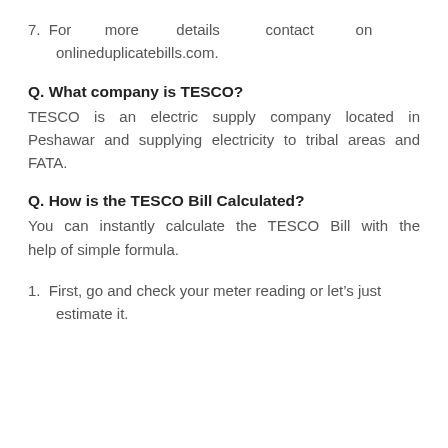7. For more details contact on onlineduplicatebills.com.
Q. What company is TESCO?
TESCO is an electric supply company located in Peshawar and supplying electricity to tribal areas and FATA.
Q. How is the TESCO Bill Calculated?
You can instantly calculate the TESCO Bill with the help of simple formula.
1. First, go and check your meter reading or let’s just estimate it.